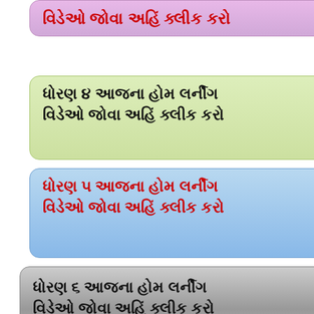[Figure (other): Pink/purple rounded button with Gujarati text: video jova ahin click karo]
[Figure (other): Green rounded button with Gujarati text: dhoran 4 aajana home learning video jova ahin click karo]
[Figure (other): Blue rounded button with Gujarati text in red: dhoran 5 aajana home learning video jova ahin click karo]
[Figure (other): Gray/silver rounded button with Gujarati text: dhoran 6 aajana home learning video jova ahin click karo]
[Figure (other): Green rounded button partially visible at bottom with Gujarati text: dhoran 7 aajana home learning]